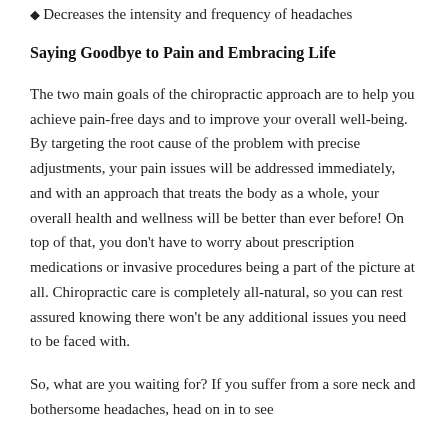Decreases the intensity and frequency of headaches
Saying Goodbye to Pain and Embracing Life
The two main goals of the chiropractic approach are to help you achieve pain-free days and to improve your overall well-being. By targeting the root cause of the problem with precise adjustments, your pain issues will be addressed immediately, and with an approach that treats the body as a whole, your overall health and wellness will be better than ever before! On top of that, you don't have to worry about prescription medications or invasive procedures being a part of the picture at all. Chiropractic care is completely all-natural, so you can rest assured knowing there won't be any additional issues you need to be faced with.
So, what are you waiting for? If you suffer from a sore neck and bothersome headaches, head on in to see